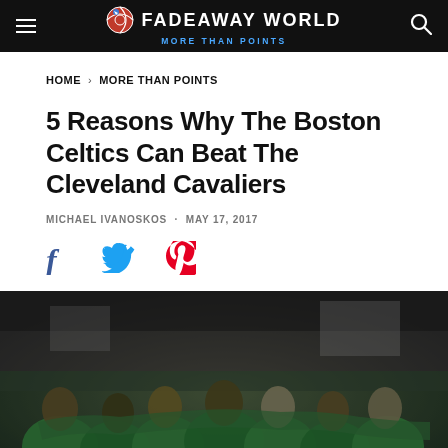FADEAWAY WORLD · MORE THAN POINTS
HOME › MORE THAN POINTS
5 Reasons Why The Boston Celtics Can Beat The Cleveland Cavaliers
MICHAEL IVANOSKOS · MAY 17, 2017
[Figure (illustration): Social share icons: Facebook, Twitter, Pinterest]
[Figure (photo): Boston Celtics players in green jerseys huddled together in a team circle, heads bowed, arms around each other in a locker room or tunnel setting]